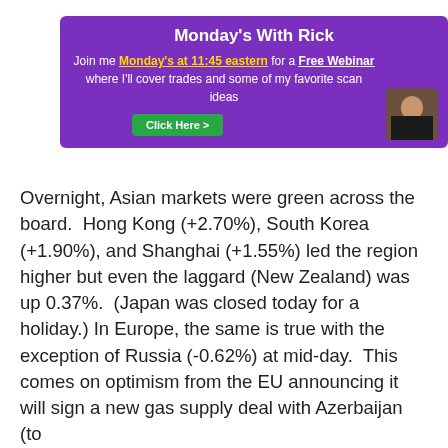[Figure (infographic): Purple banner advertisement for Monday's With Rick webinar. Contains title 'Monday's With Rick', text about joining Monday's at 11:45 eastern for a Free Webinar, a green Click Here button, and a photo of a man.]
Overnight, Asian markets were green across the board.  Hong Kong (+2.70%), South Korea (+1.90%), and Shanghai (+1.55%) led the region higher but even the laggard (New Zealand) was up 0.37%.  (Japan was closed today for a holiday.) In Europe, the same is true with the exception of Russia (-0.62%) at mid-day.  This comes on optimism from the EU announcing it will sign a new gas supply deal with Azerbaijan (to